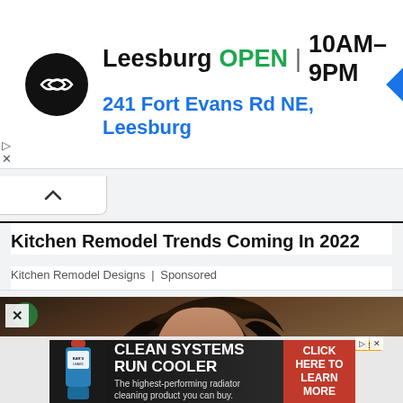[Figure (screenshot): Google Maps style local ad for a store in Leesburg showing store logo, open status, hours, and address]
Kitchen Remodel Trends Coming In 2022
Kitchen Remodel Designs | Sponsored
[Figure (photo): Cropped photo of a smiling dark-haired woman against a dark background]
[Figure (screenshot): Advertisement: CLEAN SYSTEMS RUN COOLER - The highest-performing radiator cleaning product you can buy. CLICK HERE TO LEARN MORE. Shows a bottle of cleaning fluid next to an engine.]